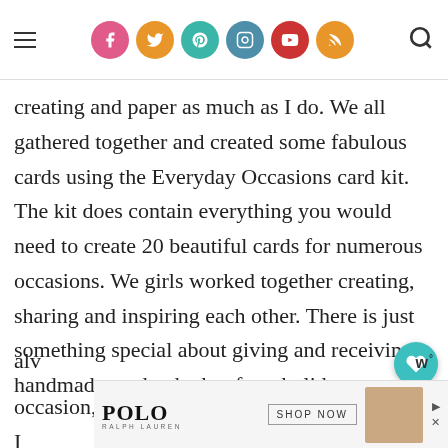Navigation bar with hamburger menu, social icons (Facebook, Twitter, Pinterest, Instagram, YouTube, RSS), and search icon
creating and paper as much as I do. We all gathered together and created some fabulous cards using the Everyday Occasions card kit. The kit does contain everything you would need to create 20 beautiful cards for numerous occasions. We girls worked together creating, sharing and inspiring each other. There is just something special about giving and receiving a handmade card, whether for a holiday occasion, or just because. All my friends know I
[Figure (infographic): Floating heart/save button (teal circle with heart icon) and share button (light grey circle with share icon) on the right side]
[Figure (infographic): WHAT'S NEXT panel showing thumbnail image and text 'AT&T Mobile Hotspot – O...']
alv
[Figure (infographic): Advertisement banner for Polo Ralph Lauren showing brand name, 'SHOP NOW' button, and a product image]
ha
[Figure (logo): Small logo/watermark in bottom right corner showing 'W°' symbol]